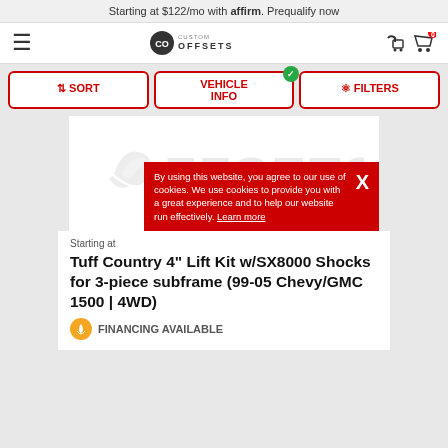Starting at $122/mo with affirm. Prequalify now
[Figure (logo): Custom Offsets logo with hamburger menu and shopping cart with 0 items]
SORT | VEHICLE INFO | FILTERS
[Figure (logo): Custom Offsets watermark logo in light gray]
Starting at
By using this website, you agree to our use of cookies. We use cookies to provide you with a great experience and to help our website run effectively. Learn more X
Tuff Country 4" Lift Kit w/SX8000 Shocks for 3-piece subframe (99-05 Chevy/GMC 1500 | 4WD)
FINANCING AVAILABLE